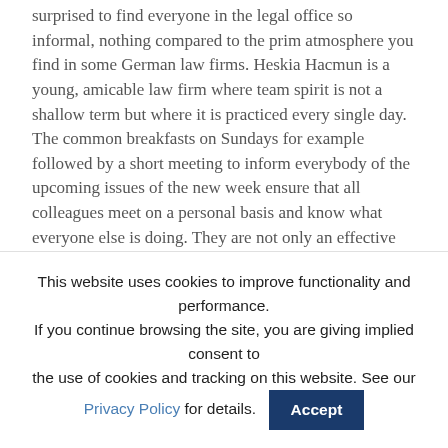surprised to find everyone in the legal office so informal, nothing compared to the prim atmosphere you find in some German law firms. Heskia Hacmun is a young, amicable law firm where team spirit is not a shallow term but where it is practiced every single day. The common breakfasts on Sundays for example followed by a short meeting to inform everybody of the upcoming issues of the new week ensure that all colleagues meet on a personal basis and know what everyone else is doing. They are not only an effective but also a very social way to start the week.
As a legal intern you are a welcomed part of it all. Everyone in the office is very friendly and trying to make you feel like
This website uses cookies to improve functionality and performance. If you continue browsing the site, you are giving implied consent to the use of cookies and tracking on this website. See our Privacy Policy for details. Accept